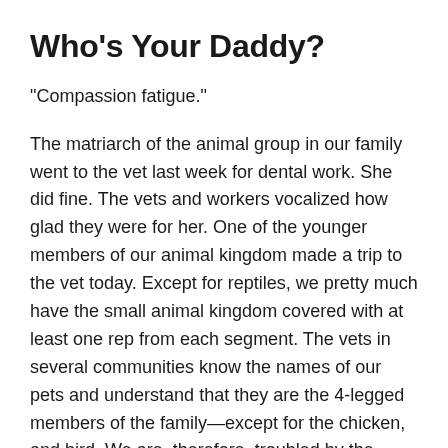Who’s Your Daddy?
“Compassion fatigue.”
The matriarch of the animal group in our family went to the vet last week for dental work. She did fine. The vets and workers vocalized how glad they were for her. One of the younger members of our animal kingdom made a trip to the vet today. Except for reptiles, we pretty much have the small animal kingdom covered with at least one rep from each segment. The vets in several communities know the names of our pets and understand that they are the 4-legged members of the family—except for the chicken, and bird. We are, therefore, troubled by the news that there is an epidemic of suicides among veterinarians specializing in small animals. The crisis is attributed to